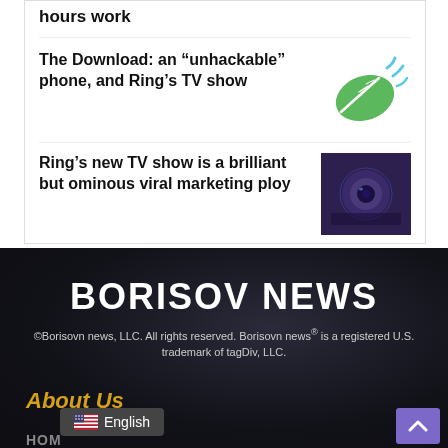hours work
The Download: an “unhackable” phone, and Ring’s TV show
[Figure (illustration): Green leaf emoji with blue motion lines]
Ring’s new TV show is a brilliant but ominous viral marketing ploy
[Figure (photo): Dark purple-toned image of a Ring security camera device]
BORISOV NEWS
©Borisovn news, LLC. All rights reserved. Borisovn news® is a registered U.S. trademark of tagDiv, LLC.
About Us
English
HOM